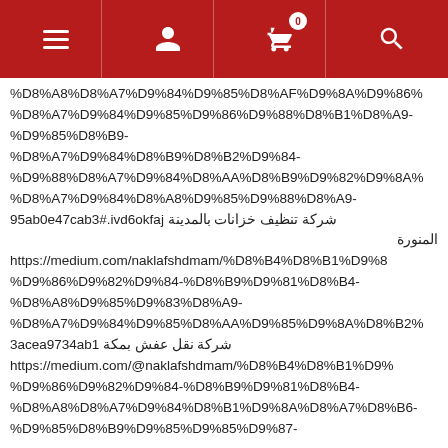Navigation header with menu, user, cart (0), and search icons
%D8%A8%D8%A7%D9%84%D9%85%D8%AF%D9%8A%D9%86%
%D8%A7%D9%84%D9%85%D9%86%D9%88%D8%B1%D8%A9-
%D9%85%D8%B9-
%D8%A7%D9%84%D8%B9%D8%B2%D9%84-
%D9%88%D8%A7%D9%84%D8%AA%D8%B9%D9%82%D9%8A%
%D8%A7%D9%84%D8%A8%D9%85%D9%88%D8%A9-
95ab0e47cab3#.ivd6okfaj شركة تنظيف خزانات بالمدينة المنورة
https://medium.com/naklafshdmam/%D8%B4%D8%B1%D9%8
%D9%86%D9%82%D9%84-%D8%B9%D9%81%D8%B4-
%D8%A8%D9%85%D9%83%D8%A9-
%D8%A7%D9%84%D9%85%D8%AA%D9%85%D9%8A%D8%B2%
3acea9734ab1 شركة نقل عفش بمكة
https://medium.com/@naklafshdmam/%D8%B4%D8%B1%D9%
%D9%86%D9%82%D9%84-%D8%B9%D9%81%D8%B4-
%D8%A8%D8%A7%D9%84%D8%B1%D9%8A%D8%A7%D8%B6-
%D9%85%D8%B9%D9%85%D9%85%D9%87-